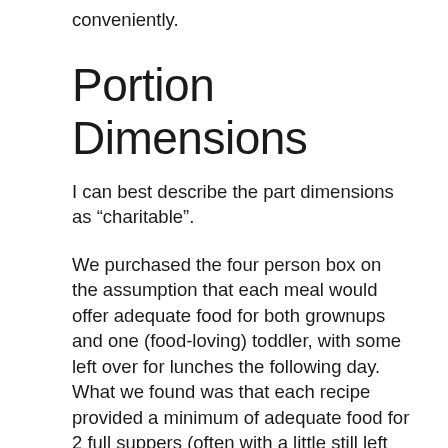conveniently.
Portion Dimensions
I can best describe the part dimensions as “charitable”.
We purchased the four person box on the assumption that each meal would offer adequate food for both grownups and one (food-loving) toddler, with some left over for lunches the following day. What we found was that each recipe provided a minimum of adequate food for 2 full suppers (often with a little still left over). This was altered a little by our decision to use the extra noodles that came with both the Asian Chicken Noodle Soup as well as the Pork Dad Dan Noodle